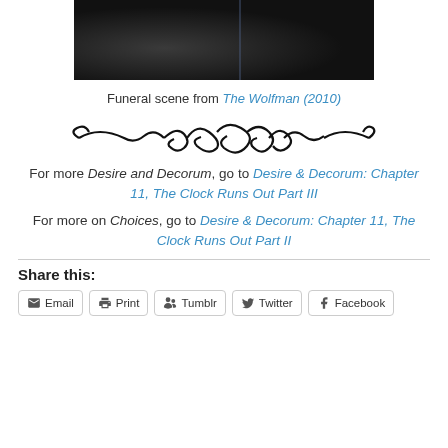[Figure (photo): Funeral scene photograph showing people in dark/black clothing, partially cropped at top of page]
Funeral scene from The Wolfman (2010)
[Figure (illustration): Decorative swirl/flourish divider ornament in black]
For more Desire and Decorum, go to Desire & Decorum: Chapter 11, The Clock Runs Out Part III
For more on Choices, go to Desire & Decorum: Chapter 11, The Clock Runs Out Part II
Share this:
Email  Print  Tumblr  Twitter  Facebook